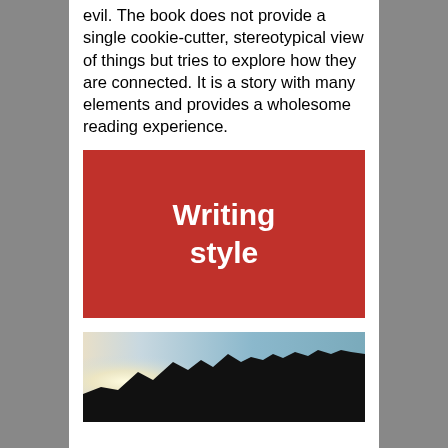evil. The book does not provide a single cookie-cutter, stereotypical view of things but tries to explore how they are connected. It is a story with many elements and provides a wholesome reading experience.
Writing style
[Figure (photo): Silhouette of mountain ridgeline against a light blue sky with a bright glowing sun on the left side]